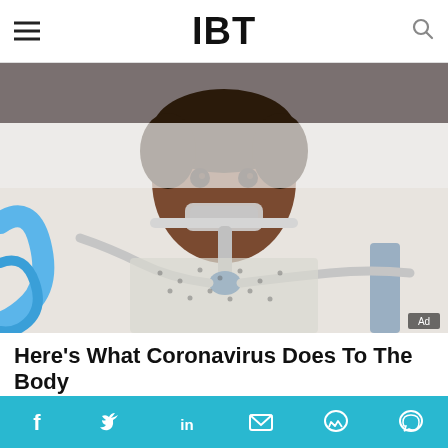IBT
[Figure (photo): Woman lying in a hospital bed with medical breathing tubes/ventilator equipment attached to her face, wearing a hospital gown]
Here's What Coronavirus Does To The Body
HERBEAUTY
MOST POPULAR
Kannada actress Ramya announces comeback to films after Ganesh pooja
[Figure (photo): Thumbnail photo of Kannada actress Ramya]
Social sharing bar: Facebook, Twitter, LinkedIn, Email, Messenger, WhatsApp